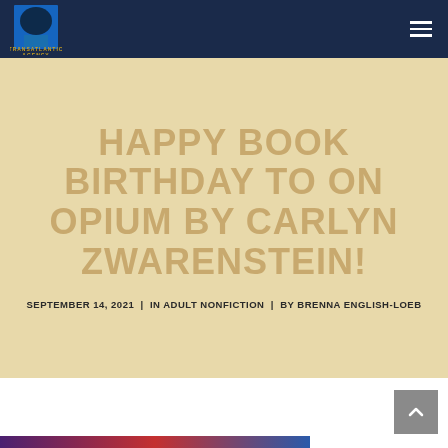TRANSATLANTIC AGENCY
HAPPY BOOK BIRTHDAY TO ON OPIUM BY CARLYN ZWARENSTEIN!
SEPTEMBER 14, 2021  |  IN ADULT NONFICTION  |  BY BRENNA ENGLISH-LOEB
[Figure (photo): Partial view of a book cover at the bottom of the page with a gradient from purple to red to blue]